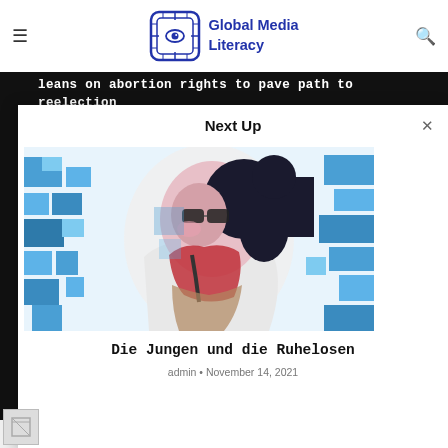Global Media Literacy
leans on abortion rights to pave path to reelection
EFFECTS
Next Up
[Figure (illustration): Colorful abstract illustration of a person with blue pixel blocks and warm tones, anime-inspired art style]
Die Jungen und die Ruhelosen
admin • November 14, 2021